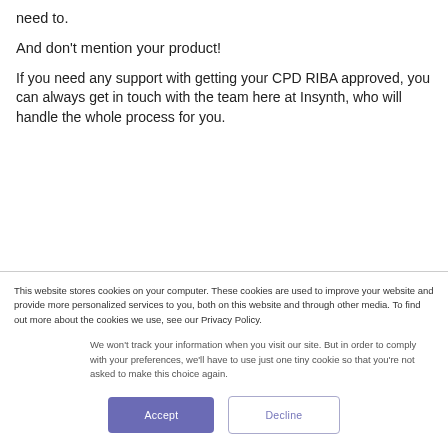need to.
And don't mention your product!
If you need any support with getting your CPD RIBA approved, you can always get in touch with the team here at Insynth, who will handle the whole process for you.
This website stores cookies on your computer. These cookies are used to improve your website and provide more personalized services to you, both on this website and through other media. To find out more about the cookies we use, see our Privacy Policy.
We won't track your information when you visit our site. But in order to comply with your preferences, we'll have to use just one tiny cookie so that you're not asked to make this choice again.
Accept
Decline